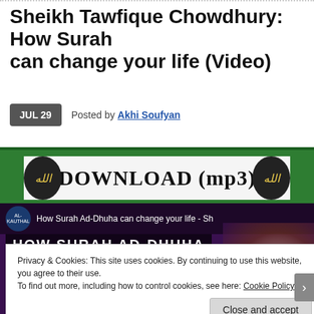Sheikh Tawfique Chowdhury: How Surah can change your life (Video)
JUL 29  Posted by Akhi Soufyan
[Figure (screenshot): Download (mp3) banner with Arabic calligraphy medallions on green background]
[Figure (screenshot): Video thumbnail showing 'How Surah Ad-Dhuha can change your life - Sh' with dark purple background and text overlay banners]
Privacy & Cookies: This site uses cookies. By continuing to use this website, you agree to their use.
To find out more, including how to control cookies, see here: Cookie Policy
Close and accept